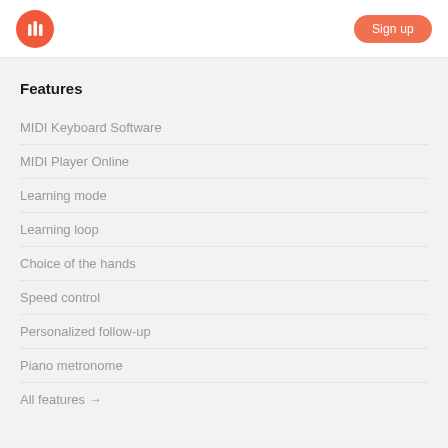Musicca — Sign up
Features
MIDI Keyboard Software
MIDI Player Online
Learning mode
Learning loop
Choice of the hands
Speed control
Personalized follow-up
Piano metronome
All features →